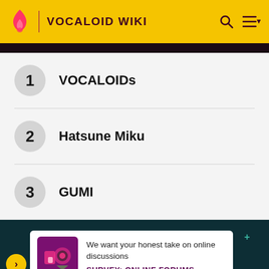VOCALOID WIKI
1 VOCALOIDs
2 Hatsune Miku
3 GUMI
We want your honest take on online discussions
SURVEY: ONLINE FORUMS